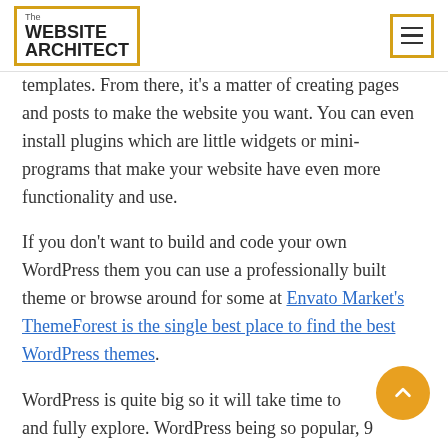The WEBSITE ARCHITECT
templates. From there, it's a matter of creating pages and posts to make the website you want. You can even install plugins which are little widgets or mini-programs that make your website have even more functionality and use.
If you don't want to build and code your own WordPress them you can use a professionally built theme or browse around for some at Envato Market's ThemeForest is the single best place to find the best WordPress themes.
WordPress is quite big so it will take time to and fully explore. WordPress being so popular, 9